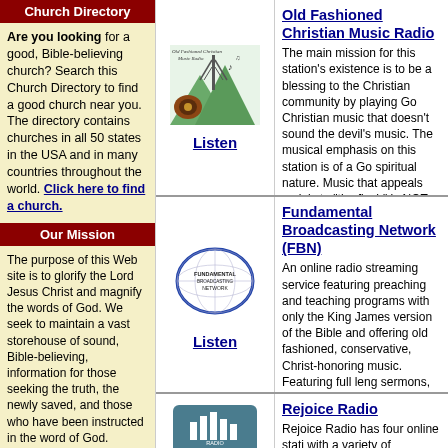Church Directory
Are you looking for a good, Bible-believing church? Search this Church Directory to find a good church near you. The directory contains churches in all 50 states in the USA and in many countries throughout the world. Click here to find a church.
Our Mission
The purpose of this Web site is to glorify the Lord Jesus Christ and magnify the words of God. We seek to maintain a vast storehouse of sound, Bible-believing, information for those seeking the truth, the newly saved, and those who have been instructed in the word of God.

This Web site contains hundreds of books, ...
[Figure (logo): Old Fashioned Christian Music Radio logo with radio tower and music notes]
Old Fashioned Christian Music Radio
The main mission for this station's existence is to be a blessing to the Christian community by playing God Christian music that doesn't sound the devil's music. The musical emphasis on this station is of a Go spiritual nature. Music that appeals mainly to "the flesh" is NOT played here) - 24 hours a day, 7 days a we to listeners all over the world.
[Figure (logo): Fundamental Broadcasting Network (FBN) globe logo]
Fundamental Broadcasting Network (FBN)
An online radio streaming service featuring preaching and teaching programs with only the King James version of the Bible and offering old fashioned, conservative, Christ-honoring music. Featuring full length sermons, short devotionals, Bible stories and dramatizations, FBN has something for all ages - 24 hours a day, 7 days a week, to listeners all over the world.
[Figure (logo): Rejoice Radio logo on teal background]
Rejoice Radio
Rejoice Radio has four online stations with a variety of programming. Since...